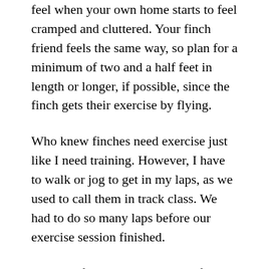feel when your own home starts to feel cramped and cluttered. Your finch friend feels the same way, so plan for a minimum of two and a half feet in length or longer, if possible, since the finch gets their exercise by flying.
Who knew finches need exercise just like I need training. However, I have to walk or jog to get in my laps, as we used to call them in track class. We had to do so many laps before our exercise session finished.
For your finch, they need short flights, so have the cage and the arrangement of the things in the birdcage, feeders, swings, water, or perches arranged to have those open, uncluttered